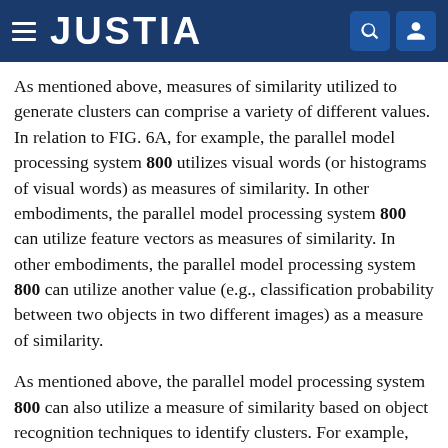JUSTIA
As mentioned above, measures of similarity utilized to generate clusters can comprise a variety of different values. In relation to FIG. 6A, for example, the parallel model processing system 800 utilizes visual words (or histograms of visual words) as measures of similarity. In other embodiments, the parallel model processing system 800 can utilize feature vectors as measures of similarity. In other embodiments, the parallel model processing system 800 can utilize another value (e.g., classification probability between two objects in two different images) as a measure of similarity.
As mentioned above, the parallel model processing system 800 can also utilize a measure of similarity based on object recognition techniques to identify clusters. For example, FIG. 6B illustrates an initial group 604a generated based on the visual content (e.g., by